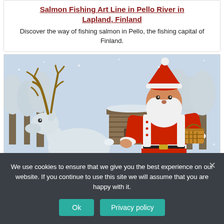Salmon Fishing Art Line in Pello River in Lapland, Finland
Discover the way of fishing salmon in Pello, the fishing capital of Finland.
[Figure (photo): Santa Claus in red suit holding a wicker basket feeding a white reindeer in a snowy Lapland setting with snow-covered trees and a log cabin in the background.]
We use cookies to ensure that we give you the best experience on our website. If you continue to use this site we will assume that you are happy with it.